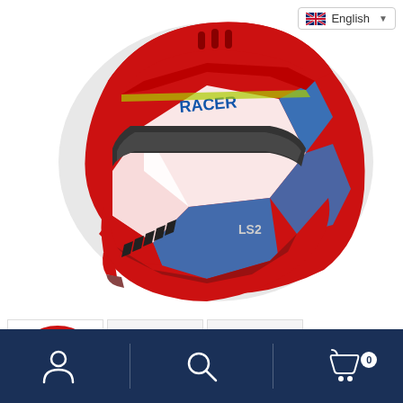[Figure (screenshot): E-commerce product page screenshot showing an LS2 MX437 Fast Evo Mini Funky Helmet in red, white, and blue colorway. Main large product image at top, thumbnail images below, product title text, and dark blue bottom navigation bar with person, search, and cart icons.]
LS2 MX437 Fast Evo Mini Funky Helmet
0